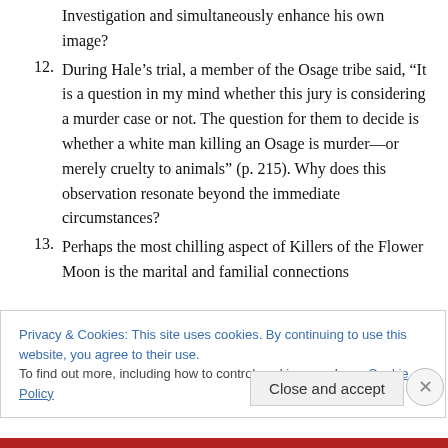Investigation and simultaneously enhance his own image?
12. During Hale’s trial, a member of the Osage tribe said, “It is a question in my mind whether this jury is considering a murder case or not. The question for them to decide is whether a white man killing an Osage is murder—or merely cruelty to animals” (p. 215). Why does this observation resonate beyond the immediate circumstances?
13. Perhaps the most chilling aspect of Killers of the Flower Moon is the marital and familial connections
Privacy & Cookies: This site uses cookies. By continuing to use this website, you agree to their use.
To find out more, including how to control cookies, see here: Cookie Policy